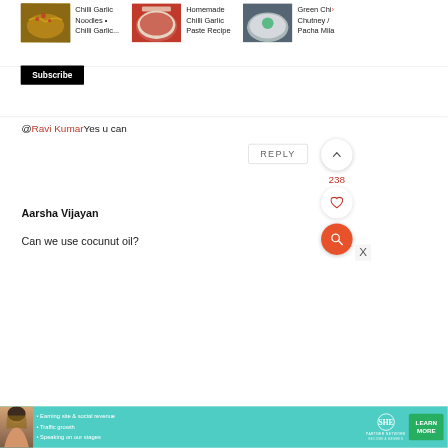[Figure (screenshot): Top bar showing recommended recipe video thumbnails: Chilli Garlic Noodles, Homemade Chilli Garlic Paste Recipe, Green Chilli Chutney / Pacha Mila]
Chilli Garlic Noodles • Chilli Garlic...
Homemade Chilli Garlic Paste Recipe
Green Chilli Chutney / Pacha Mila
Subscribe
@Ravi KumarYes u can
REPLY
238
Aarsha Vijayan
Can we use cocunut oil?
X
[Figure (screenshot): SHE Partner Network advertisement banner with woman, bullet points, SHE logo, and LEARN MORE button]